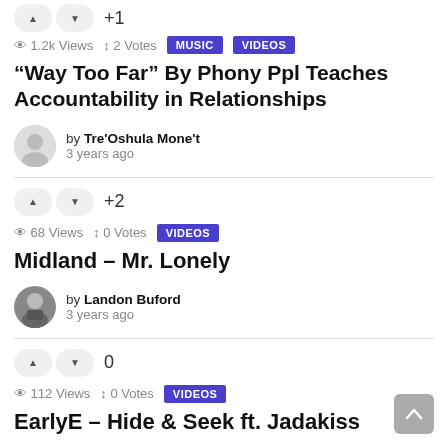+1 vote row (up/down buttons)
1.2k Views  2 Votes  MUSIC  VIDEOS
“Way Too Far” By Phony Ppl Teaches Accountability in Relationships
by Tre'Oshula Mone't  3 years ago
+2 vote row (up/down buttons)
68 Views  0 Votes  VIDEOS
Midland – Mr. Lonely
by Landon Buford  3 years ago
0 vote row (up/down buttons)
112 Views  0 Votes  VIDEOS
EarlyE – Hide & Seek ft. Jadakiss